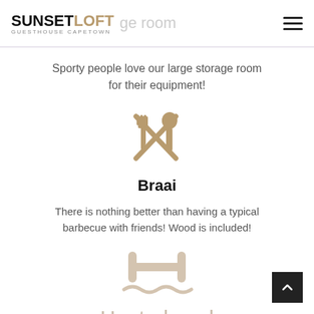SUNSET LOFT GUESTHOUSE CAPETOWN | ge room
Sporty people love our large storage room for their equipment!
[Figure (illustration): Crossed fork and spoon icon in tan/gold color]
Braai
There is nothing better than having a typical barbecue with friends! Wood is included!
[Figure (illustration): Swimming pool icon in light tan color]
Heated pool